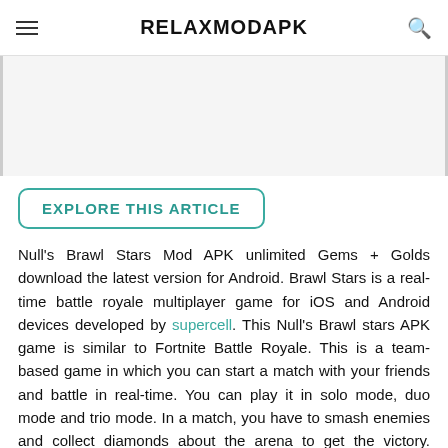RELAXMODAPK
EXPLORE THIS ARTICLE
Null's Brawl Stars Mod APK unlimited Gems + Golds download the latest version for Android. Brawl Stars is a real-time battle royale multiplayer game for iOS and Android devices developed by supercell. This Null's Brawl stars APK game is similar to Fortnite Battle Royale. This is a team-based game in which you can start a match with your friends and battle in real-time. You can play it in solo mode, duo mode and trio mode. In a match, you have to smash enemies and collect diamonds about the arena to get the victory. Download Null's Brawl Stars APK features unlimited gold coins and gems.